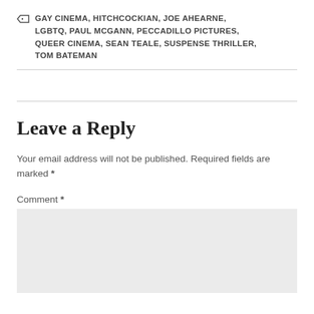GAY CINEMA, HITCHCOCKIAN, JOE AHEARNE, LGBTQ, PAUL MCGANN, PECCADILLO PICTURES, QUEER CINEMA, SEAN TEALE, SUSPENSE THRILLER, TOM BATEMAN
Leave a Reply
Your email address will not be published. Required fields are marked *
Comment *